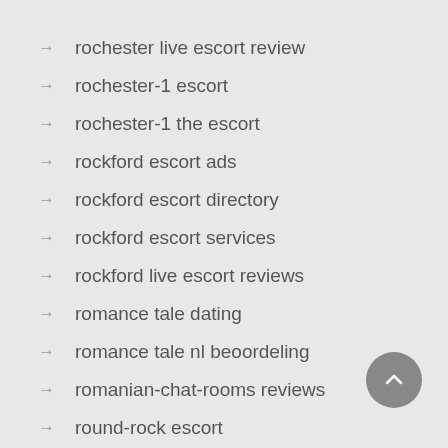→ rochester live escort review
→ rochester-1 escort
→ rochester-1 the escort
→ rockford escort ads
→ rockford escort directory
→ rockford escort services
→ rockford live escort reviews
→ romance tale dating
→ romance tale nl beoordeling
→ romanian-chat-rooms reviews
→ round-rock escort